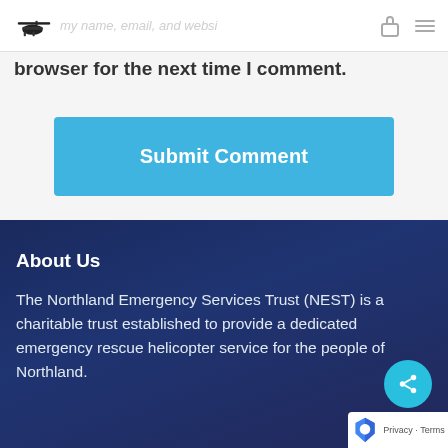my name, email, and website in this browser for the next time I comment.
Submit Comment
About Us
The Northland Emergency Services Trust (NEST) is a charitable trust established to provide a dedicated emergency rescue helicopter service for the people of Northland.